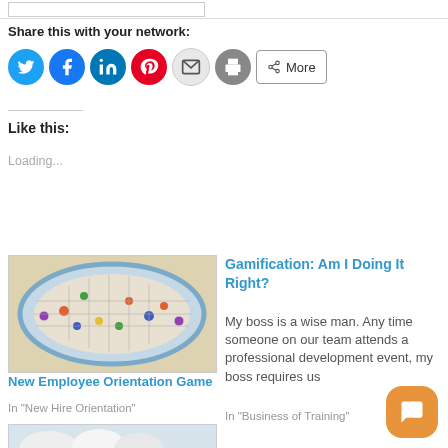Share this with your network:
[Figure (infographic): Social sharing icon buttons: Twitter (blue circle), Facebook (blue circle), LinkedIn (blue circle), Pinterest (red circle), Email (grey circle), Print (grey circle), More button]
Like this:
Loading...
[Figure (photo): Photo of a board game on an oval tray with colorful pieces]
New Employee Orientation Game
In "New Hire Orientation"
Gamification: Am I Doing It Right?
My boss is a wise man. Any time someone on our team attends a professional development event, my boss requires us
In "Business of Training"
[Figure (photo): Partial photo visible at bottom left, appears to show white paper or fabric items]